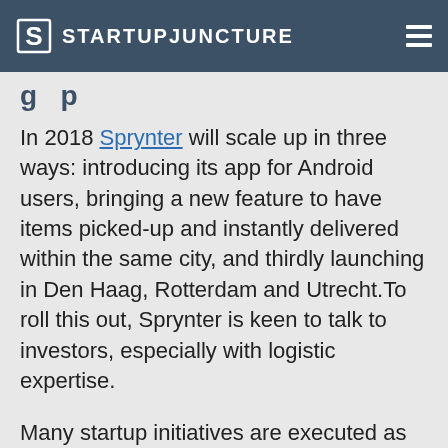STARTUPJUNCTURE
In 2018 Sprynter will scale up in three ways: introducing its app for Android users, bringing a new feature to have items picked-up and instantly delivered within the same city, and thirdly launching in Den Haag, Rotterdam and Utrecht.To roll this out, Sprynter is keen to talk to investors, especially with logistic expertise.
Many startup initiatives are executed as problem solving for personal struggles or bureaucratic hurdles. Packaging is still a big thing and many companies have tried to come up with a solution for delivery. This is an original take-out for package pick-ups, where